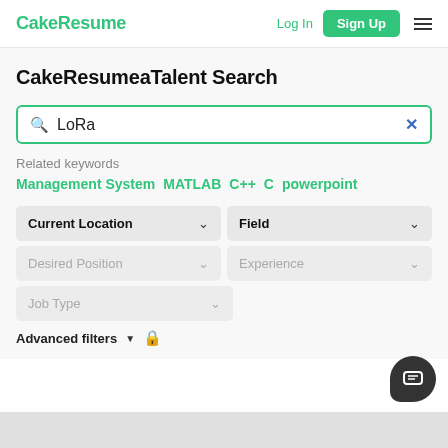CakeResume | Log In | Sign Up
CakeResume Talent Search
Search: LoRa
Related keywords
Management System
MATLAB
C++
C
powerpoint
Current Location (dropdown)
Field (dropdown)
Desired Position (dropdown)
Experience (dropdown)
Job Type (dropdown)
Advanced filters